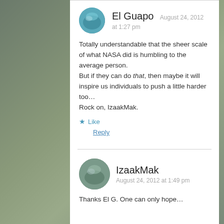El Guapo  August 24, 2012 at 1:27 pm
Totally understandable that the sheer scale of what NASA did is humbling to the average person. But if they can do that, then maybe it will inspire us individuals to push a little harder too… Rock on, IzaakMak.
★ Like
Reply
IzaakMak  August 24, 2012 at 1:49 pm
Thanks El G. One can only hope…